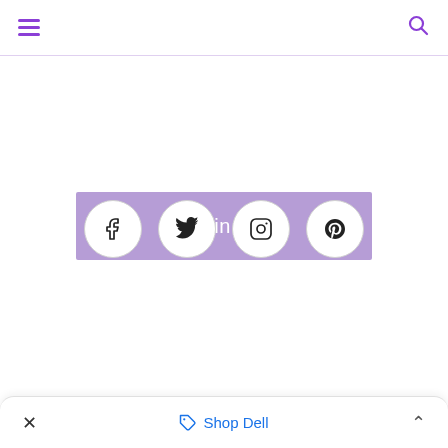[Figure (screenshot): Navigation bar with hamburger menu icon (purple) on left and search icon (purple) on right, separated from content by a light purple horizontal rule]
Keep in touch
[Figure (infographic): Four social media icon circles in a row: Facebook (f), Twitter (bird), Instagram (camera), Pinterest (p)]
× Shop Dell ^